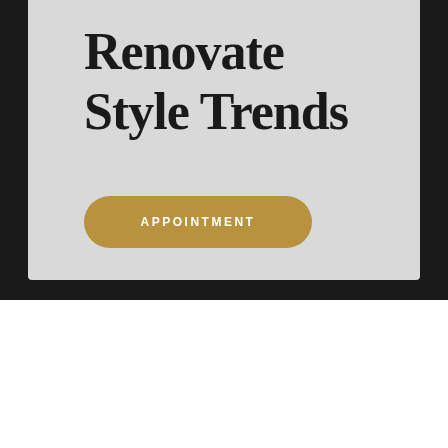Renovate Style Trends
[Figure (other): Gold rounded button with text APPOINTMENT]
BARBER SHOP
Our Team
[Figure (other): Navigation arrows: left arrow circle outline and right arrow circle with gold gear/settings icon overlay]